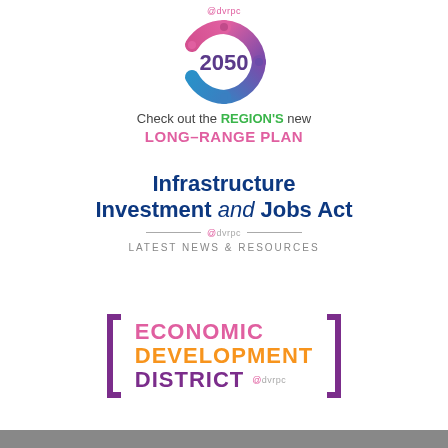[Figure (logo): DVRPC 2050 puzzle ring logo with '@dvrpc' tag above and '2050' inside a circular puzzle-piece graphic in pink, purple, and blue]
Check out the REGION'S new
LONG-RANGE PLAN
[Figure (logo): Infrastructure Investment and Jobs Act - @dvrpc - LATEST NEWS & RESOURCES logo/banner in dark navy blue]
[Figure (logo): Economic Development District logo with bracket design, text in pink/orange/purple with @dvrpc tag]